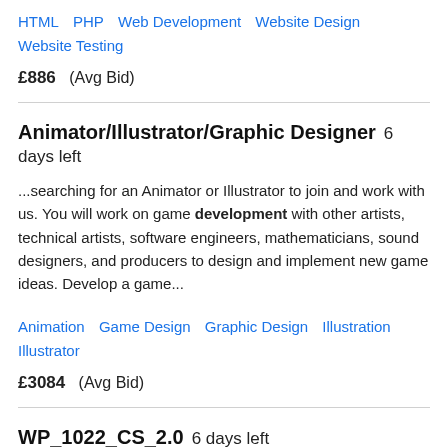HTML   PHP   Web Development   Website Design   Website Testing
£886  (Avg Bid)
Animator/Illustrator/Graphic Designer  6 days left
...searching for an Animator or Illustrator to join and work with us. You will work on game development with other artists, technical artists, software engineers, mathematicians, sound designers, and producers to design and implement new game ideas. Develop a game...
Animation   Game Design   Graphic Design   Illustration   Illustrator
£3084  (Avg Bid)
WP_1022_CS_2.0  6 days left
Web site development cum web maintenance. Sound